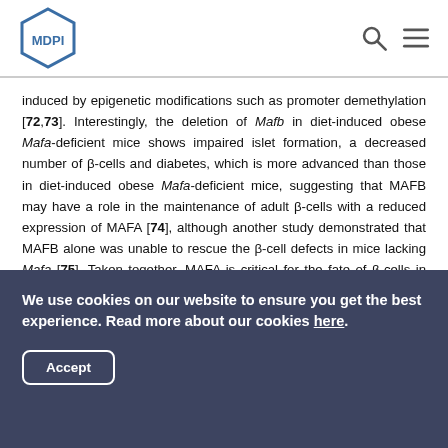MDPI
induced by epigenetic modifications such as promoter demethylation [72,73]. Interestingly, the deletion of Mafb in diet-induced obese Mafa-deficient mice shows impaired islet formation, a decreased number of β-cells and diabetes, which is more advanced than those in diet-induced obese Mafa-deficient mice, suggesting that MAFB may have a role in the maintenance of adult β-cells with a reduced expression of MAFA [74], although another study demonstrated that MAFB alone was unable to rescue the β-cell defects in mice lacking Mafa [75]. Taken together, MAFA is critical for the fate of β-cells in adult pancreas.
We use cookies on our website to ensure you get the best experience. Read more about our cookies here.
Accept